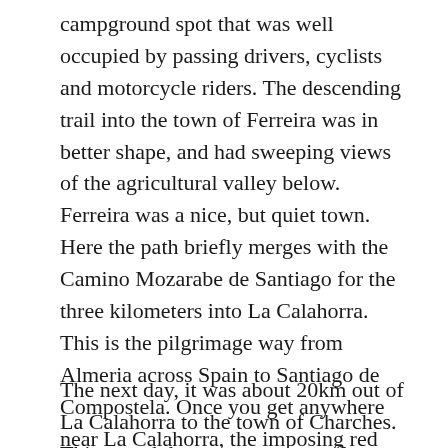campground spot that was well occupied by passing drivers, cyclists and motorcycle riders. The descending trail into the town of Ferreira was in better shape, and had sweeping views of the agricultural valley below. Ferreira was a nice, but quiet town. Here the path briefly merges with the Camino Mozarabe de Santiago for the three kilometers into La Calahorra. This is the pilgrimage way from Almeria across Spain to Santiago de Compostela. Once you get anywhere near La Calahorra, the imposing red castle with domed minarets comes into view. La Calahorra is very picturesque, but also very quiet. The castle is a must see, not just for the castle, but for the views of town and the Sierra Nevada mountains, which still had snow on top.
The next day, it was about 20km out of La Calahorra to the town of Charches. This stretch however was very flat